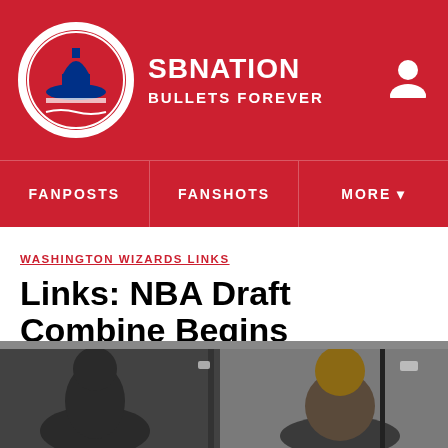SB NATION | BULLETS FOREVER
FANPOSTS | FANSHOTS | MORE
WASHINGTON WIZARDS LINKS
Links: NBA Draft Combine Begins
By Mike Prada | Jun 7, 2012, 11:01am EDT
[Figure (photo): Two basketball players photographed in what appears to be a locker room or facility hallway. Left figure is darker framed, right figure is a young Black male with close-cropped hair.]